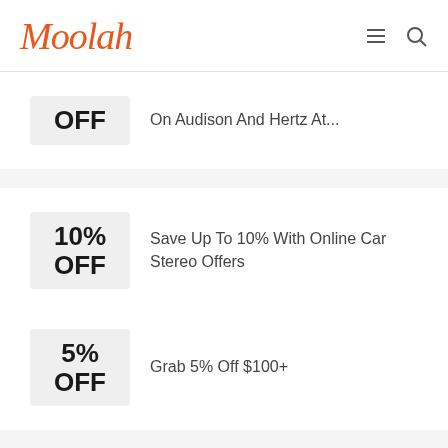Moolah
OFF | On Audison And Hertz At...
10% OFF | Save Up To 10% With Online Car Stereo Offers
5% OFF | Grab 5% Off $100+